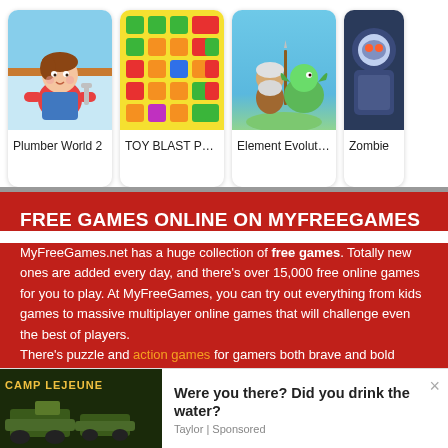[Figure (screenshot): Game thumbnails row: Plumber World 2 (cartoon child plumber), TOY BLAST PUZ... (colorful block puzzle), Element Evolution (caveman with dragon), Zombie (partial, sci-fi character)]
Plumber World 2
TOY BLAST PUZ...
Element Evolution
Zombie
FREE GAMES ONLINE ON MYFREEGAMES
MyFreeGames.net has a huge collection of free games. Totally new ones are added every day, and there’s over 15,000 free online games for you to play. At MyFreeGames, you can try out everything from kids games to massive multiplayer online games that will challenge even the best of players.
There’s puzzle and action games for gamers both brave and bold
[Figure (photo): Camp Lejeune advertisement image with military vehicles]
Were you there? Did you drink the water?
Taylor | Sponsored